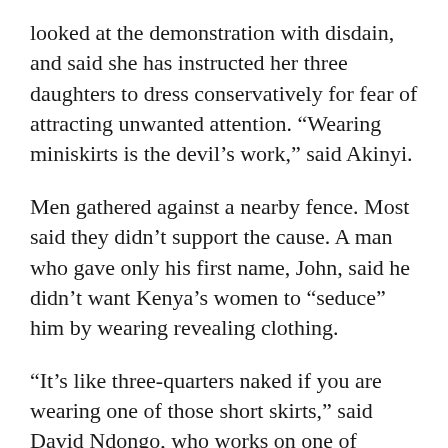looked at the demonstration with disdain, and said she has instructed her three daughters to dress conservatively for fear of attracting unwanted attention. “Wearing miniskirts is the devil’s work,” said Akinyi.
Men gathered against a nearby fence. Most said they didn’t support the cause. A man who gave only his first name, John, said he didn’t want Kenya’s women to “seduce” him by wearing revealing clothing.
“It’s like three-quarters naked if you are wearing one of those short skirts,” said David Ndongo, who works on one of Kenya’s mini transport buses known as matatus, where women can also face harassment.